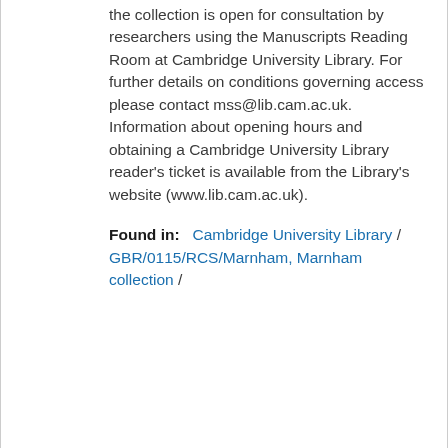the collection is open for consultation by researchers using the Manuscripts Reading Room at Cambridge University Library. For further details on conditions governing access please contact mss@lib.cam.ac.uk. Information about opening hours and obtaining a Cambridge University Library reader's ticket is available from the Library's website (www.lib.cam.ac.uk).
Found in:  Cambridge University Library / GBR/0115/RCS/Marnham, Marnham collection /